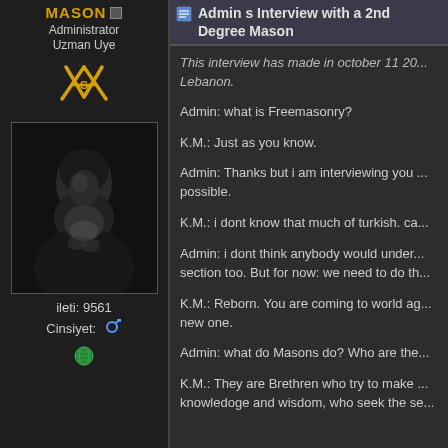MASON [online indicator]
Administrator
Uzman Uye
[Figure (illustration): Masonic square and compass symbol in gold/yellow on dark background]
[Figure (photo): Black and white portrait photo of an elderly bearded man in contemplative pose]
ileti: 9561
Cinsiyet: [male symbol]
[Figure (illustration): Green globe/online status icon]
Admin s Interview with a 2nd Degree Mason
This interview has made in october 11 20... Lebanon.
Admin: what is Freemasonry?
K.M.: Just as you know.
Admin: Thanks but i am interviewing you ... possible.
K.M.: i dont know that much of turkish. ca...
Admin: i dont think anybody would under... section too. But for now: we need to do th...
K.M.: Reborn. You are coming to world ag... new one.
Admin: what do Masons do? Who are the...
K.M.: They are Brethren who try to make ... knowledoge and wisdom, who seek the se...